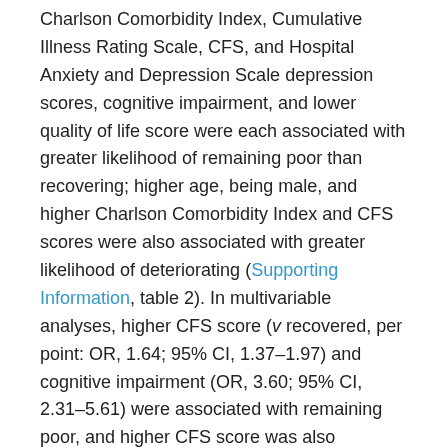Charlson Comorbidity Index, Cumulative Illness Rating Scale, CFS, and Hospital Anxiety and Depression Scale depression scores, cognitive impairment, and lower quality of life score were each associated with greater likelihood of remaining poor than recovering; higher age, being male, and higher Charlson Comorbidity Index and CFS scores were also associated with greater likelihood of deteriorating (Supporting Information, table 2). In multivariable analyses, higher CFS score (v recovered, per point: OR, 1.64; 95% CI, 1.37–1.97) and cognitive impairment (OR, 3.60; 95% CI, 2.31–5.61) were associated with remaining poor, and higher CFS score was also associated with deterioration (OR, 1.63; 95% CI, 1.33–1.99) (Box 5).
Discussion
We identified three distinct trajectories of ADL and IADL functional performance: patients for whom performance